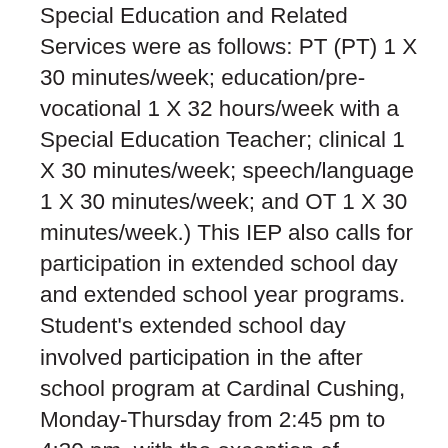Special Education and Related Services were as follows: PT (PT) 1 X 30 minutes/week; education/pre-vocational 1 X 32 hours/week with a Special Education Teacher; clinical 1 X 30 minutes/week; speech/language 1 X 30 minutes/week; and OT 1 X 30 minutes/week.) This IEP also calls for participation in extended school day and extended school year programs. Student's extended school day involved participation in the after school program at Cardinal Cushing, Monday-Thursday from 2:45 pm to 4:30 pm, with the exception of Wednesdays and Fridays which are early dismissal days on which Student is released at 1:30 pm (JE-2).  Consultation services, as follows, were also proposed: physical therapy (PT) 1 X 15 minutes/month; case management 1 X 30 minutes/week; assistive technology (AT) with an AT Specialist 1 X 15 minutes/month; clinical services 1 X 15 minutes/month; speech/language 1 X 15